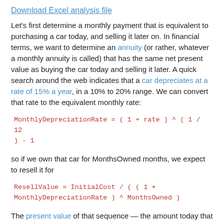Download Excel analysis file
Let's first determine a monthly payment that is equivalent to purchasing a car today, and selling it later on. In financial terms, we want to determine an annuity (or rather, whatever a monthly annuity is called) that has the same net present value as buying the car today and selling it later. A quick search around the web indicates that a car depreciates at a rate of 15% a year, in a 10% to 20% range. We can convert that rate to the equivalent monthly rate:
so if we own that car for MonthsOwned months, we expect to resell it for
The present value of that sequence — the amount today that